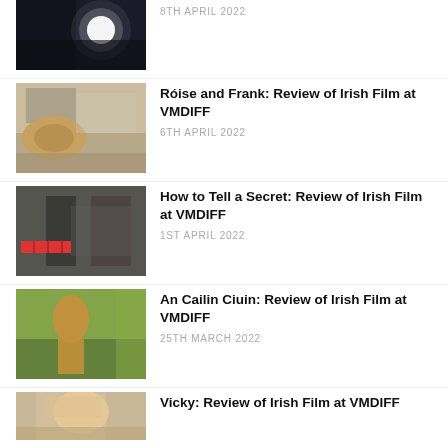[Figure (photo): Dark scene with a bright light, partial view at top]
8TH APRIL 2022
[Figure (photo): Person lying in bed with a dog]
Róise and Frank: Review of Irish Film at VMDIFF
6TH APRIL 2022
[Figure (photo): Two people facing each other indoors]
How to Tell a Secret: Review of Irish Film at VMDIFF
1ST APRIL 2022
[Figure (photo): Young girl running outdoors in yellow dress]
An Cailin Ciuin: Review of Irish Film at VMDIFF
25TH MARCH 2022
[Figure (photo): Blonde woman, partial view at bottom]
Vicky: Review of Irish Film at VMDIFF